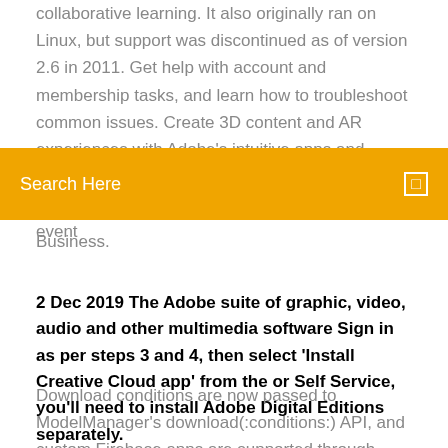collaborative learning. It also originally ran on Linux, but support was discontinued as of version 2.6 in 2011. Get help with account and membership tasks, and learn how to troubleshoot common issues. Create 3D content and AR experiences with Adobe's intuitive apps and services. Design high-quality product visuals, synthetic photography, and more. Leading the event
[Figure (screenshot): Orange search bar with white text 'Search Here' and a small square search icon on the right]
Business.
2 Dec 2019 The Adobe suite of graphic, video, audio and other multimedia software Sign in as per steps 3 and 4, then select 'Install Creative Cloud app' from the or Self Service, you'll need to install Adobe Digital Editions separately.
Download conditions are now passed to ModelManager's download(:conditions:) API, and custom Firebase apps are supported through ModelManager's modelManager(app:) API.